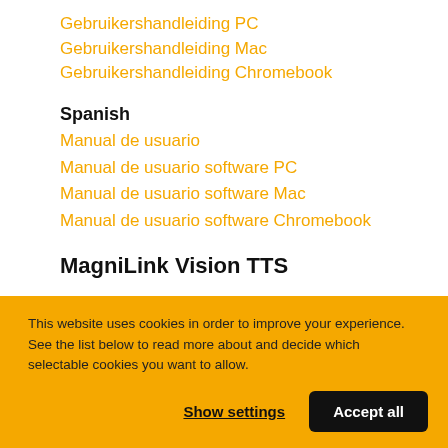Gebruikershandleiding PC
Gebruikershandleiding Mac
Gebruikershandleiding Chromebook
Spanish
Manual de usuario
Manual de usuario software PC
Manual de usuario software Mac
Manual de usuario software Chromebook
MagniLink Vision TTS
This website uses cookies in order to improve your experience. See the list below to read more about and decide which selectable cookies you want to allow.